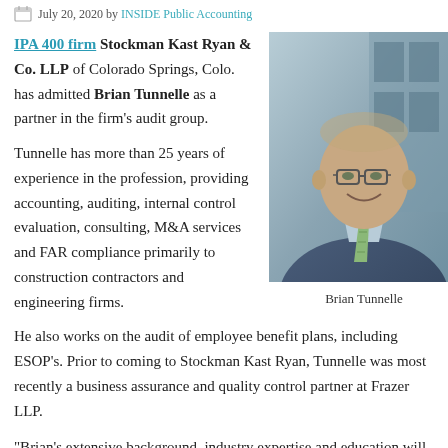July 20, 2020 by INSIDE Public Accounting
IPA 400 firm Stockman Kast Ryan & Co. LLP of Colorado Springs, Colo. has admitted Brian Tunnelle as a partner in the firm's audit group.
[Figure (photo): Professional headshot photo of Brian Tunnelle, a man in a dark blue suit with a light blue shirt and green striped tie, smiling, wearing glasses.]
Brian Tunnelle
Tunnelle has more than 25 years of experience in the profession, providing accounting, auditing, internal control evaluation, consulting, M&A services and FAR compliance primarily to construction contractors and engineering firms. He also works on the audit of employee benefit plans, including ESOP's. Prior to coming to Stockman Kast Ryan, Tunnelle was most recently a business assurance and quality control partner at Frazer LLP.
“Brian’s extensive background, industry expertise and education will complement our team and provide more value for our clients,” says audit partner Steve Hochstetter.